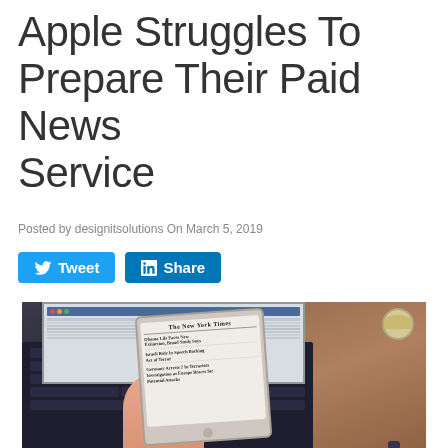Apple Struggles To Prepare Their Paid News Service
Posted by designitsolutions On March 5, 2019
[Figure (other): Social media share buttons: Twitter Tweet button (blue) and LinkedIn Share button (blue)]
[Figure (photo): Person holding a smartphone displaying the New York Times website, with a laptop computer keyboard and screen in the background on a wooden desk surface. A coffee cup is visible in the upper right corner.]